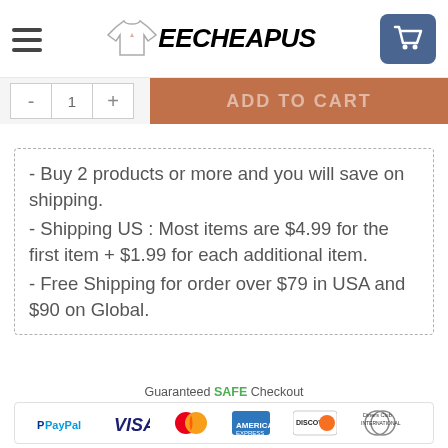TEECHEAPUS
ADD TO CART
- Buy 2 products or more and you will save on shipping.
- Shipping US : Most items are $4.99 for the first item + $1.99 for each additional item.
- Free Shipping for order over $79 in USA and $90 on Global.
Guaranteed SAFE Checkout
[Figure (infographic): Payment logos: PayPal, VISA, Mastercard, American Express, Discover, Diners Club International]